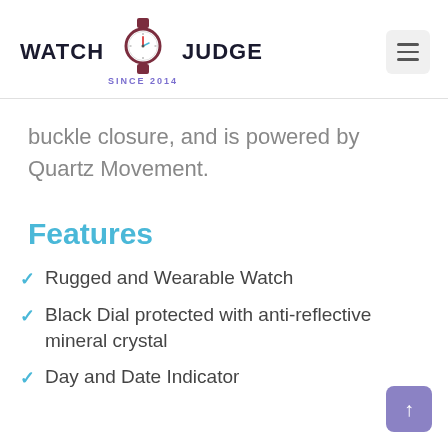WATCH JUDGE SINCE 2014
buckle closure, and is powered by Quartz Movement.
Features
Rugged and Wearable Watch
Black Dial protected with anti-reflective mineral crystal
Day and Date Indicator